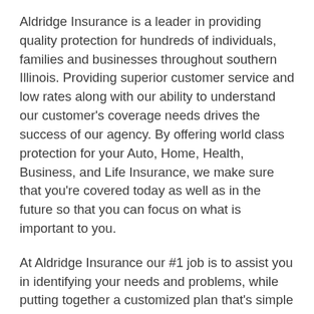Aldridge Insurance is a leader in providing quality protection for hundreds of individuals, families and businesses throughout southern Illinois. Providing superior customer service and low rates along with our ability to understand our customer's coverage needs drives the success of our agency. By offering world class protection for your Auto, Home, Health, Business, and Life Insurance, we make sure that you're covered today as well as in the future so that you can focus on what is important to you.
At Aldridge Insurance our #1 job is to assist you in identifying your needs and problems, while putting together a customized plan that's simple and easy to understand. We take the mystery out of insurance and help you make sense of it, so you can look forward to a brighter, more secure future. To do this we evaluate your specific needs, find the company that will give you the best value for your dollar, while supplying a superior standard of protection and service. The companies we